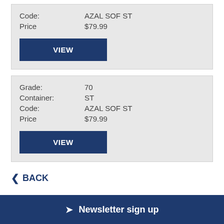Code: AZAL SOF ST
Price $79.99
VIEW
Grade: 70
Container: ST
Code: AZAL SOF ST
Price $79.99
VIEW
< BACK
Newsletter sign up